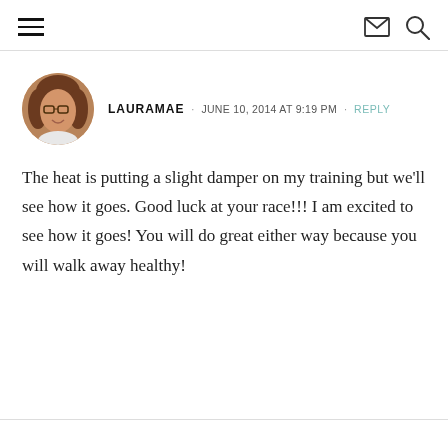≡  ✉  🔍
LAURAMAE · JUNE 10, 2014 AT 9:19 PM · REPLY
The heat is putting a slight damper on my training but we'll see how it goes. Good luck at your race!!! I am excited to see how it goes! You will do great either way because you will walk away healthy!